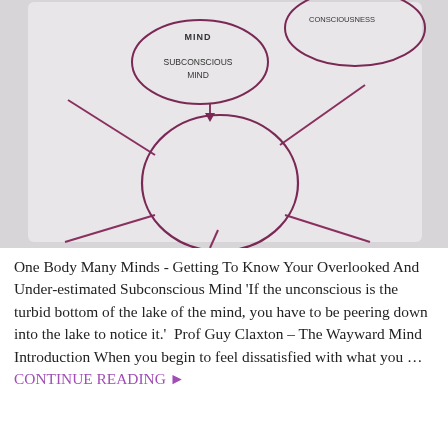[Figure (photo): A hand-drawn whiteboard diagram showing overlapping circles labeled MIND, SUBCONSCIOUS MIND, and CONSCIOUSNESS, with lines radiating outward from a central large circle.]
One Body Many Minds - Getting To Know Your Overlooked And Under-estimated Subconscious Mind 'If the unconscious is the turbid bottom of the lake of the mind, you have to be peering down into the lake to notice it.'  Prof Guy Claxton – The Wayward Mind Introduction When you begin to feel dissatisfied with what you … CONTINUE READING ▸